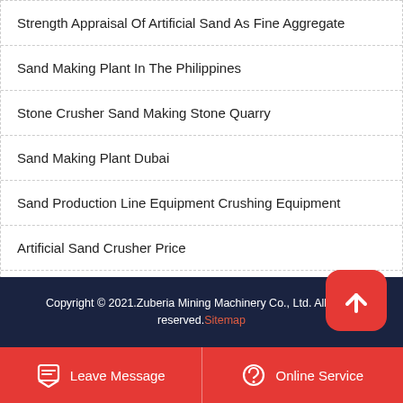Strength Appraisal Of Artificial Sand As Fine Aggregate
Sand Making Plant In The Philippines
Stone Crusher Sand Making Stone Quarry
Sand Making Plant Dubai
Sand Production Line Equipment Crushing Equipment
Artificial Sand Crusher Price
Prima Stone Machinery Sand Making Stone Quarry
Copyright © 2021.Zuberia Mining Machinery Co., Ltd. All rights reserved. Sitemap
Leave Message | Online Service